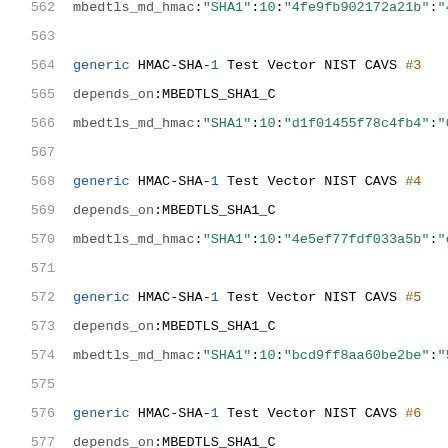562   mbedtls_md_hmac:"SHA1":10:"4fe9fb902172a21b":"4
563
564   generic HMAC-SHA-1 Test Vector NIST CAVS #3
565   depends_on:MBEDTLS_SHA1_C
566   mbedtls_md_hmac:"SHA1":10:"d1f01455f78c4fb4":"0
567
568   generic HMAC-SHA-1 Test Vector NIST CAVS #4
569   depends_on:MBEDTLS_SHA1_C
570   mbedtls_md_hmac:"SHA1":10:"4e5ef77fdf033a5b":"e
571
572   generic HMAC-SHA-1 Test Vector NIST CAVS #5
573   depends_on:MBEDTLS_SHA1_C
574   mbedtls_md_hmac:"SHA1":10:"bcd9ff8aa60be2be":"5
575
576   generic HMAC-SHA-1 Test Vector NIST CAVS #6
577   depends_on:MBEDTLS_SHA1_C
578   mbedtls_md_hmac:"SHA1":10:"4a661bce6ed86d21":"5
579
580   generic HMAC-SHA-1 Test Vector NIST CAVS #7
581   depends_on:MBEDTLS_SHA1_C
582   mbedtls_md_hmac:"SHA1":10:"1287e1565a57b547":"3
583